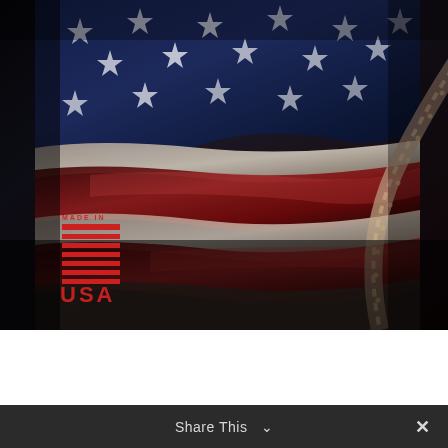[Figure (photo): Close-up photograph of an American flag (stars and stripes) draped/waving, with dramatic dark moody lighting. Colors of deep navy blue with white stars, and rich dark red and white stripes. A 'Made in USA' logo badge overlaid in red on the lower left portion of the flag image.]
Share This ∨  ✕